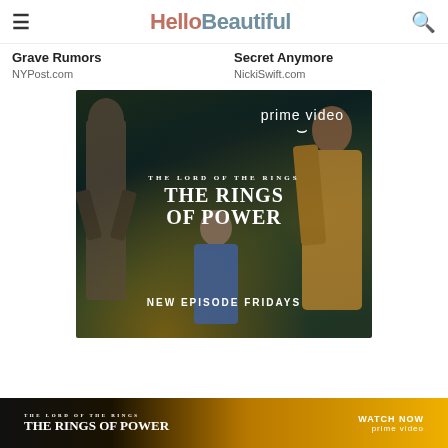HelloBeautiful
Grave Rumors
NYPost.com
Secret Anymore
NickiSwift.com
[Figure (photo): Amazon Prime Video advertisement for 'The Lord of the Rings: The Rings of Power' showing two characters in a fantasy forest setting with text 'prime video', 'THE LORD OF THE RINGS THE RINGS OF POWER', 'NEW EPISODE FRIDAYS']
[Figure (photo): Bottom banner advertisement for 'The Lord of the Rings: The Rings of Power' on Prime Video with gold background, showing 'WATCH NOW' and Prime Video logo]